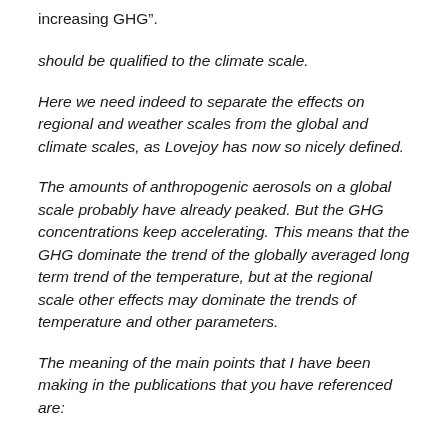increasing GHG”.
should be qualified to the climate scale.
Here we need indeed to separate the effects on regional and weather scales from the global and climate scales, as Lovejoy has now so nicely defined.
The amounts of anthropogenic aerosols on a global scale probably have already peaked. But the GHG concentrations keep accelerating. This means that the GHG dominate the trend of the globally averaged long term trend of the temperature, but at the regional scale other effects may dominate the trends of temperature and other parameters.
The meaning of the main points that I have been making in the publications that you have referenced are: